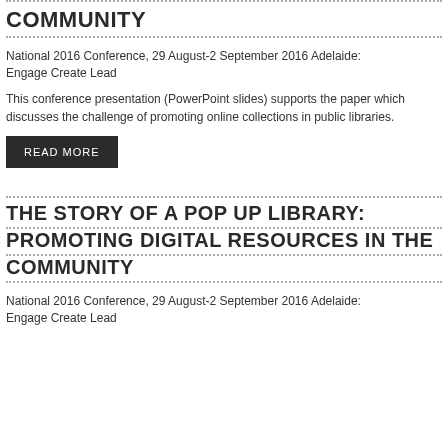COMMUNITY
National 2016 Conference, 29 August-2 September 2016 Adelaide: Engage Create Lead
This conference presentation (PowerPoint slides) supports the paper which discusses the challenge of promoting online collections in public libraries.
READ MORE
THE STORY OF A POP UP LIBRARY:
PROMOTING DIGITAL RESOURCES IN THE
COMMUNITY
National 2016 Conference, 29 August-2 September 2016 Adelaide: Engage Create Lead